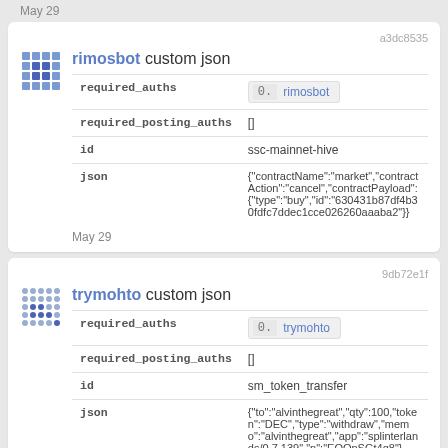May 29
| field | value |
| --- | --- |
| required_auths | 0. rimosbot |
| required_posting_auths | [] |
| id | ssc-mainnet-hive |
| json | {"contractName":"market","contractAction":"cancel","contractPayload":{"type":"buy","id":"630431b87df4b30fdfc7ddec1cce026260aaaba2"}} |
May 29
| field | value |
| --- | --- |
| required_auths | 0. trymohto |
| required_posting_auths | [] |
| id | sm_token_transfer |
| json | {"to":"alvinthegreat","qty":100,"token":"DEC","type":"withdraw","memo":"alvinthegreat","app":"splinterlands/0.7.139","n":"EOQpSGt4q8"} |
May 29